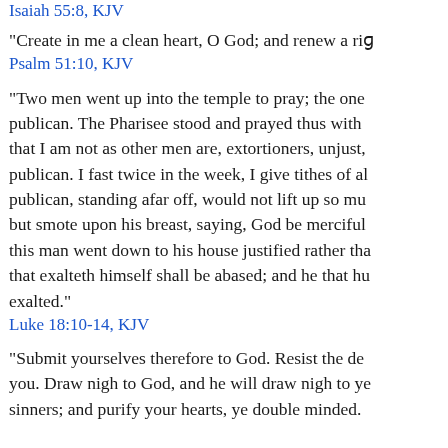Isaiah 55:8, KJV (partial reference at top)
“Create in me a clean heart, O God; and renew a right…
Psalm 51:10, KJV
“Two men went up into the temple to pray; the one a Pharisee, and the other a publican. The Pharisee stood and prayed thus with himself, God, I thank thee, that I am not as other men are, extortioners, unjust, adulterers, or even as this publican. I fast twice in the week, I give tithes of all that I possess. And the publican, standing afar off, would not lift up so much as his eyes unto heaven: but smote upon his breast, saying, God be merciful to me a sinner. I tell you, this man went down to his house justified rather than the other: for every one that exalteth himself shall be abased; and he that humbleth himself shall be exalted.”
Luke 18:10-14, KJV
“Submit yourselves therefore to God. Resist the devil, and he will flee from you. Draw nigh to God, and he will draw nigh to you. Cleanse your hands, ye sinners; and purify your hearts, ye double minded.”